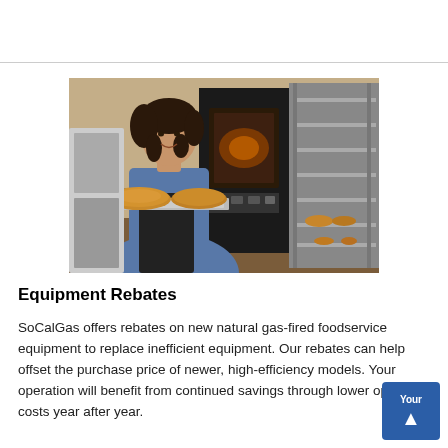[Figure (photo): A woman with curly dark hair smiling, wearing a blue shirt and black apron, holding a baking tray with two round flatbreads/pies in front of a commercial oven. To the right are metal racks with baked goods. Commercial bakery kitchen setting.]
Equipment Rebates
SoCalGas offers rebates on new natural gas-fired foodservice equipment to replace inefficient equipment. Our rebates can help offset the purchase price of newer, high-efficiency models. Your operation will benefit from continued savings through lower operating costs year after year.